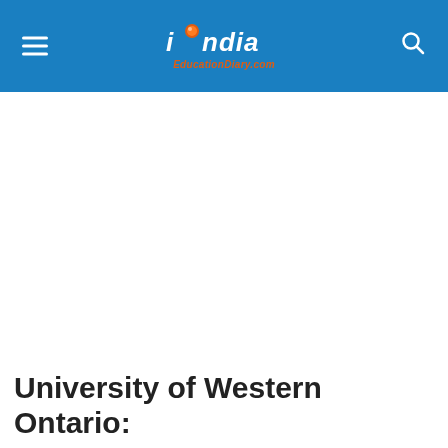India EducationDiary.com
University of Western Ontario: